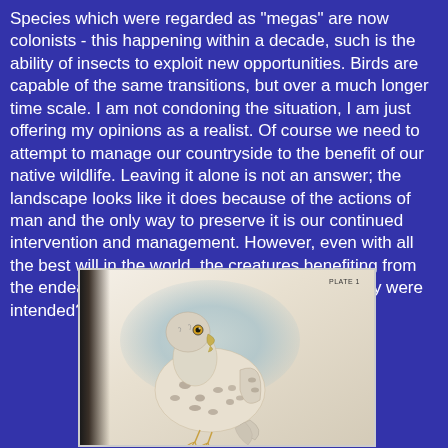Species which were regarded as "megas" are now colonists - this happening within a decade, such is the ability of insects to exploit new opportunities. Birds are capable of the same transitions, but over a much longer time scale. I am not condoning the situation, I am just offering my opinions as a realist. Of course we need to attempt to manage our countryside to the benefit of our native wildlife. Leaving it alone is not an answer; the landscape looks like it does because of the actions of man and the only way to preserve it is our continued intervention and management. However, even with all the best will in the world, the creatures benefiting from the endeavours might not be those for which they were intended?
[Figure (photo): A photograph of an open book showing an illustration (PLATE 1) of a bird of prey, appearing to be a falcon or gyrfalcon, with white and spotted plumage, shown in profile view.]